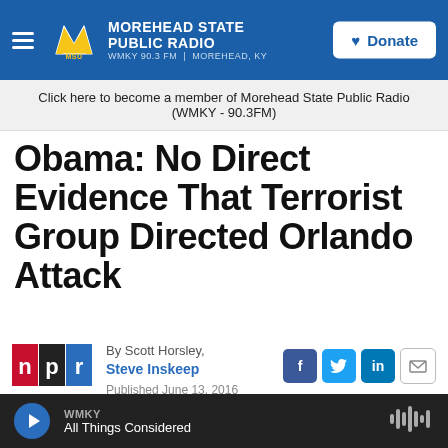MOREHEAD STATE PUBLIC RADIO
WMKY 90.3 FM | MOREHEAD, KY
Click here to become a member of Morehead State Public Radio (WMKY - 90.3FM)
Obama: No Direct Evidence That Terrorist Group Directed Orlando Attack
By Scott Horsley, Steve Inskeep
Published June 13, 2016
WMKY
All Things Considered